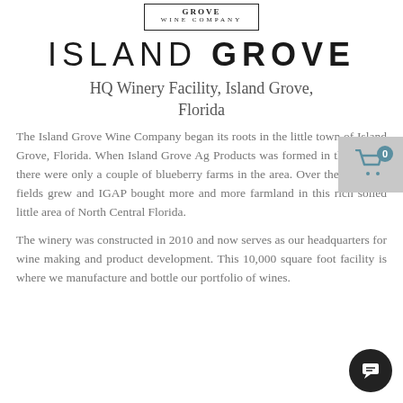[Figure (logo): Island Grove Wine Company logo in a rectangular border]
ISLAND GROVE
HQ Winery Facility, Island Grove, Florida
The Island Grove Wine Company began its roots in the little town of Island Grove, Florida. When Island Grove Ag Products was formed in the 1990's, there were only a couple of blueberry farms in the area. Over the years the fields grew and IGAP bought more and more farmland in this rich soiled little area of North Central Florida.
The winery was constructed in 2010 and now serves as our headquarters for wine making and product development. This 10,000 square foot facility is where we manufacture and bottle our portfolio of wines.